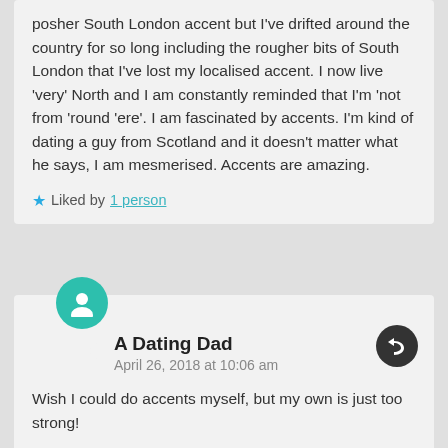posher South London accent but I've drifted around the country for so long including the rougher bits of South London that I've lost my localised accent. I now live 'very' North and I am constantly reminded that I'm 'not from 'round 'ere'. I am fascinated by accents. I'm kind of dating a guy from Scotland and it doesn't matter what he says, I am mesmerised. Accents are amazing.
Liked by 1 person
A Dating Dad
April 26, 2018 at 10:06 am
Wish I could do accents myself, but my own is just too strong!
Liked by 1 person